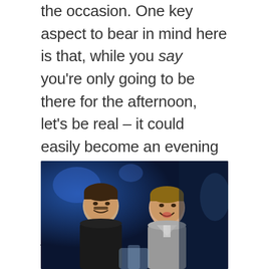the occasion. One key aspect to bear in mind here is that, while you say you're only going to be there for the afternoon, let's be real – it could easily become an evening affair. That's why we'd always recommend taking along a light summer jacket or jumper, bomber, or blazer which you can easily throw over a chair until the need arises.
[Figure (photo): Two young men smiling and laughing together at what appears to be a bar or restaurant, with blue ambient lighting in the background. The man on the left has dark hair and a moustache wearing a dark top; the man on the right has lighter hair and is wearing a grey jacket.]